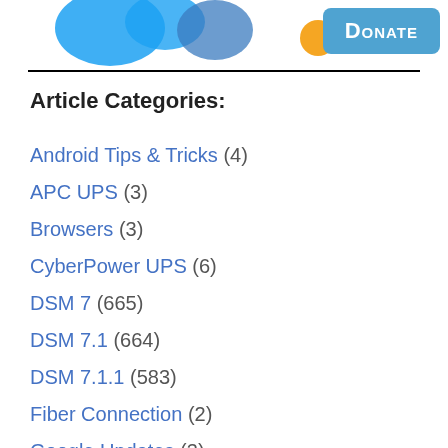[Figure (logo): Partial logo visible at top with blue bird/Twitter icon and other icons, with a blue Donate button in upper right corner]
Article Categories:
Android Tips & Tricks (4)
APC UPS (3)
Browsers (3)
CyberPower UPS (6)
DSM 7 (665)
DSM 7.1 (664)
DSM 7.1.1 (583)
Fiber Connection (2)
Google Updates (3)
Hardware Review (13)